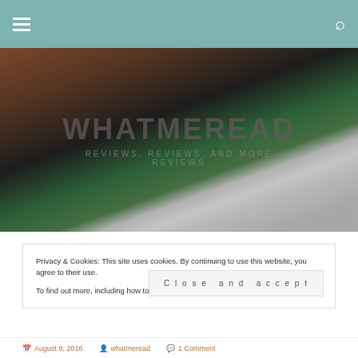whatmeread - Reviews, reviews, and more reviews
[Figure (photo): Hero banner showing stacked books on grass background with site title WHATMEREAD and tagline REVIEWS, REVIEWS, AND MORE REVIEWS overlaid]
Privacy & Cookies: This site uses cookies. By continuing to use this website, you agree to their use.
To find out more, including how to control cookies, see here: Cookie Policy
Close and accept
August 9, 2016   whatmeread   1 Comment